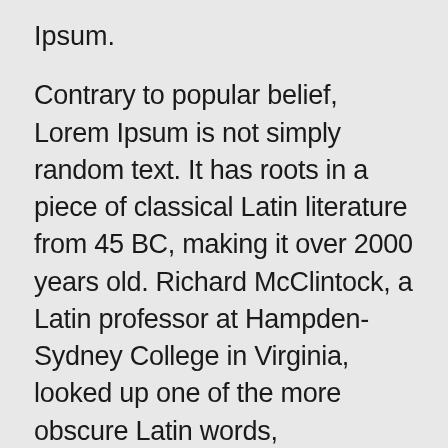Ipsum.
Contrary to popular belief, Lorem Ipsum is not simply random text. It has roots in a piece of classical Latin literature from 45 BC, making it over 2000 years old. Richard McClintock, a Latin professor at Hampden-Sydney College in Virginia, looked up one of the more obscure Latin words, consectetur, from a Lorem Ipsum passage, and going through the cites of the word in classical literature, discovered the undoubtable source.
Lorem Ipsum comes from sections 1.10.32 and 1.10.33 of “de Finibus Bonorum et Malorum” (The Extremes of Good and Evil) by Cicero,